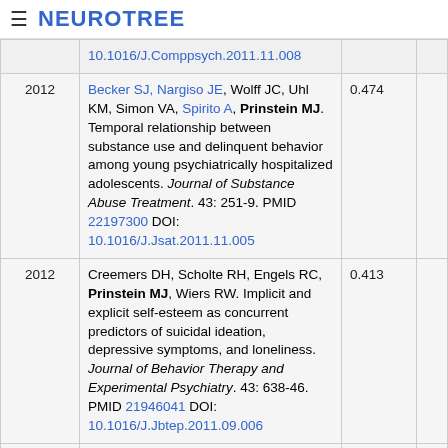≡ NEUROTREE
| Year | Reference | Score |  |
| --- | --- | --- | --- |
|  | 10.1016/J.Comppsych.2011.11.008 |  |  |
| 2012 | Becker SJ, Nargiso JE, Wolff JC, Uhl KM, Simon VA, Spirito A, Prinstein MJ. Temporal relationship between substance use and delinquent behavior among young psychiatrically hospitalized adolescents. Journal of Substance Abuse Treatment. 43: 251-9. PMID 22197300 DOI: 10.1016/J.Jsat.2011.11.005 | 0.474 |  |
| 2012 | Creemers DH, Scholte RH, Engels RC, Prinstein MJ, Wiers RW. Implicit and explicit self-esteem as concurrent predictors of suicidal ideation, depressive symptoms, and loneliness. Journal of Behavior Therapy and Experimental Psychiatry. 43: 638-46. PMID 21946041 DOI: 10.1016/J.Jbtep.2011.09.006 | 0.413 |  |
| 2012 | Nargiso JE, Becker SJ, Wolff JC, Uhl KM, Simon V, Spirito A, Prinstein MJ. Psychological, peer, and family influences on smoking among an | 0.423 |  |